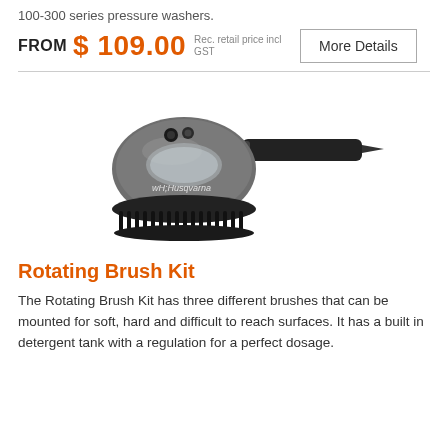100-300 series pressure washers.
FROM $109.00 Rec. retail price incl GST
[Figure (photo): Husqvarna Rotating Brush Kit product photo — a grey and black motorized brush attachment with handle, Husqvarna branding visible on the body, black bristles at the bottom.]
Rotating Brush Kit
The Rotating Brush Kit has three different brushes that can be mounted for soft, hard and difficult to reach surfaces. It has a built in detergent tank with a regulation for a perfect dosage.